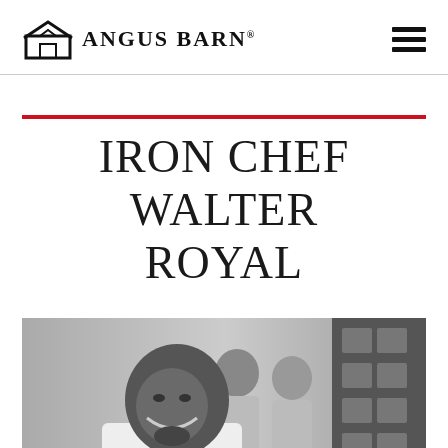Angus Barn
IRON CHEF WALTER ROYAL
[Figure (photo): Black and white photo of Chef Walter Royal smiling in a kitchen, wearing a white chef's coat, with kitchen staff and brick wall visible in the background.]